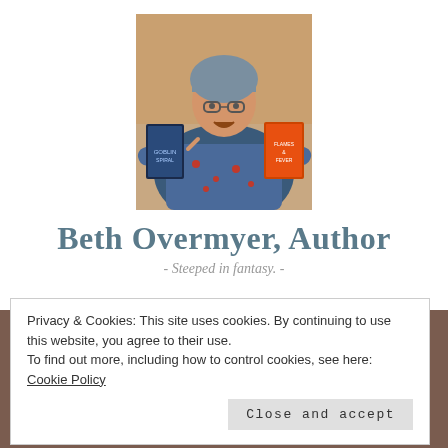[Figure (photo): Woman smiling and holding two books, wearing glasses and a blue knit hat]
Beth Overmyer, Author
- Steeped in fantasy. -
Privacy & Cookies: This site uses cookies. By continuing to use this website, you agree to their use.
To find out more, including how to control cookies, see here: Cookie Policy
Close and accept